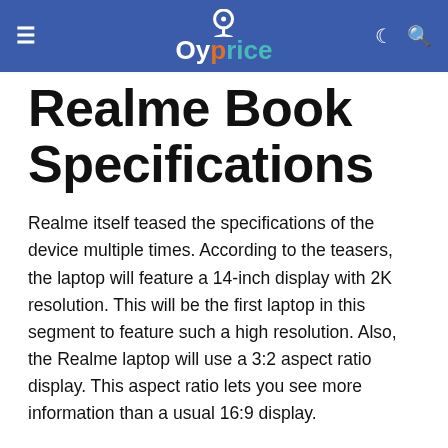Oyprice
Realme Book Specifications
Realme itself teased the specifications of the device multiple times. According to the teasers, the laptop will feature a 14-inch display with 2K resolution. This will be the first laptop in this segment to feature such a high resolution. Also, the Realme laptop will use a 3:2 aspect ratio display. This aspect ratio lets you see more information than a usual 16:9 display.
The display has a brightness of up to 300 Nits. Realme CEO Madhav Sheth also showed off the design of the Realme Book in one of his recent tweets. Since the